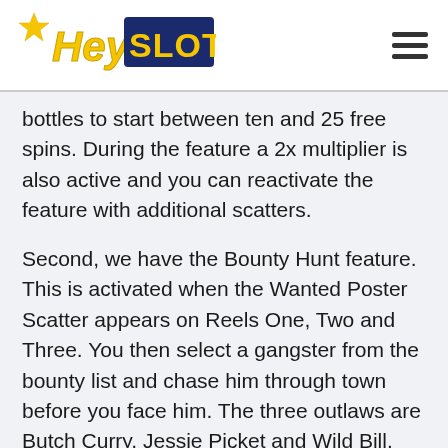Hey!Slots
bottles to start between ten and 25 free spins. During the feature a 2x multiplier is also active and you can reactivate the feature with additional scatters.
Second, we have the Bounty Hunt feature. This is activated when the Wanted Poster Scatter appears on Reels One, Two and Three. You then select a gangster from the bounty list and chase him through town before you face him. The three outlaws are Butch Curry, Jessie Picket and Wild Bill. The latter is the most valuable gangster. He offers you a 4x multiplier and between 1.2 and 240 times your bet as a win. This multiplier is then applied to all wins during the Bounty Hunt feature.